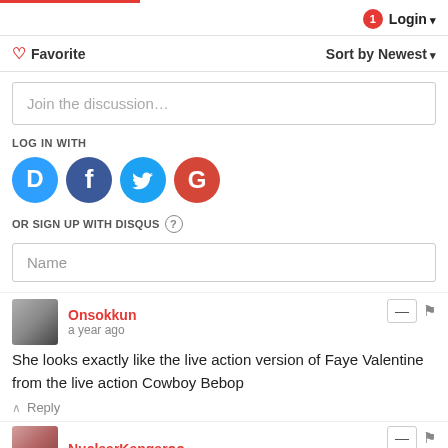Login
♡ Favorite   Sort by Newest
Join the discussion…
LOG IN WITH
[Figure (logo): Social login icons: Disqus (D), Facebook (f), Twitter bird, Google (G)]
OR SIGN UP WITH DISQUS ?
Name
Onsokkun
a year ago
She looks exactly like the live action version of Faye Valentine from the live action Cowboy Bebop
↑  Reply
NuclearKangaroo